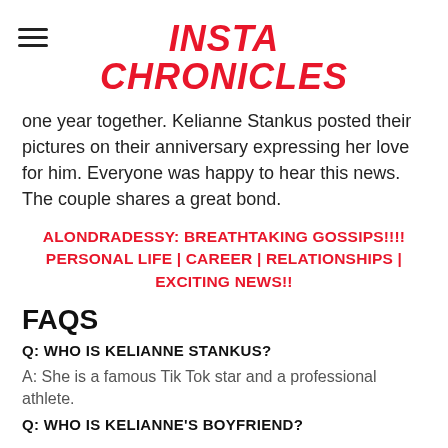INSTA CHRONICLES
one year together. Kelianne Stankus posted their pictures on their anniversary expressing her love for him. Everyone was happy to hear this news. The couple shares a great bond.
ALONDRADESSY: BREATHTAKING GOSSIPS!!!! PERSONAL LIFE | CAREER | RELATIONSHIPS | EXCITING NEWS!!
FAQS
Q: WHO IS KELIANNE STANKUS?
A: She is a famous Tik Tok star and a professional athlete.
Q: WHO IS KELIANNE'S BOYFRIEND?